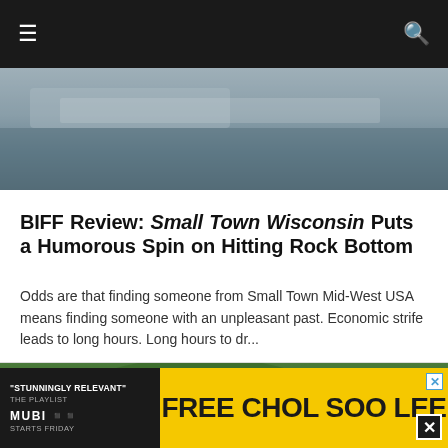≡ [hamburger menu] [search icon]
[Figure (photo): Cropped photo showing the top of a car or vehicle, muted blue-grey tones, partial interior view]
BIFF Review: Small Town Wisconsin Puts a Humorous Spin on Hitting Rock Bottom
Odds are that finding someone from Small Town Mid-West USA means finding someone with an unpleasant past. Economic strife leads to long hours. Long hours to dr...
[Figure (photo): Outdoor photo showing trees with green foliage and a figure with long hair in lower portion, bright overcast sky]
[Figure (other): Advertisement banner: MUBI - 'STUNNINGLY RELEVANT' THE PLAYLIST, STARTS FRIDAY. FREE CHOL SOO LEE on yellow background.]